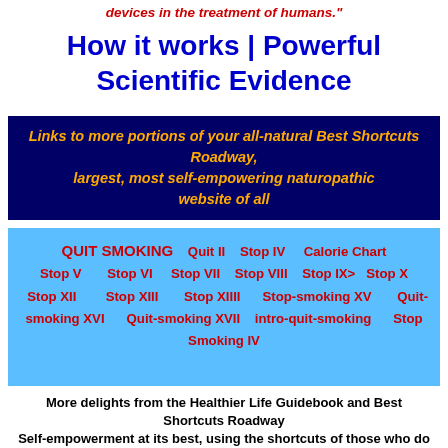devices in the treatment of humans."
How it works | Powerful Scientific Evidence
Links to more portions of your all-natural Best Shortcuts Roadway, largest, most self-empowering naturopathic website of all
QUIT SMOKING   Quit II   Stop IV   Calorie Chart   Stop V   Stop VI   Stop VII   Stop VIII   Stop IX>   Stop X   Stop XII   Stop XIII   Stop XIIII   Stop-smoking XV   Quit-smoking XVI   Quit-smoking XVII   intro-quit-smoking   Stop   Smoking IV
More delights from the Healthier Life Guidebook and Best Shortcuts Roadway
Self-empowerment at its best, using the shortcuts of those who do better.